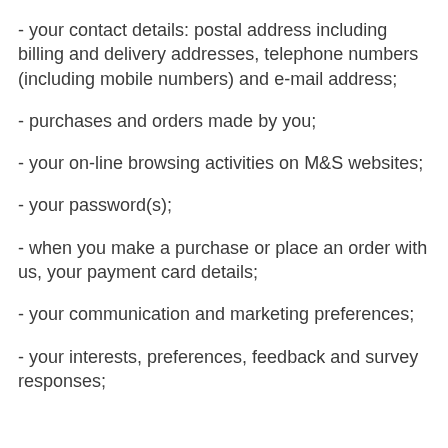- your contact details: postal address including billing and delivery addresses, telephone numbers (including mobile numbers) and e-mail address;
- purchases and orders made by you;
- your on-line browsing activities on M&S websites;
- your password(s);
- when you make a purchase or place an order with us, your payment card details;
- your communication and marketing preferences;
- your interests, preferences, feedback and survey responses;